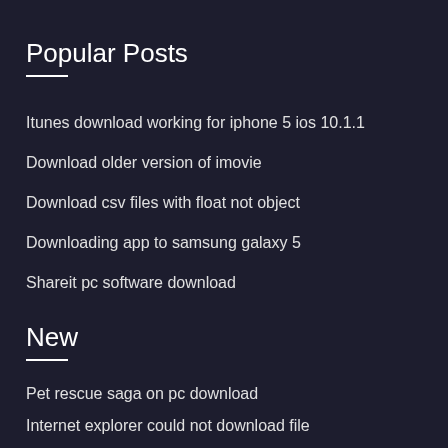Popular Posts
Itunes download working for iphone 5 ios 10.1.1
Download older version of imovie
Download csv files with float not object
Downloading app to samsung galaxy 5
Shareit pc software download
New
Pet rescue saga on pc download
Internet explorer could not download file
How download youtube videos to android phone
My book world driver download windows 10
Download file in messenger